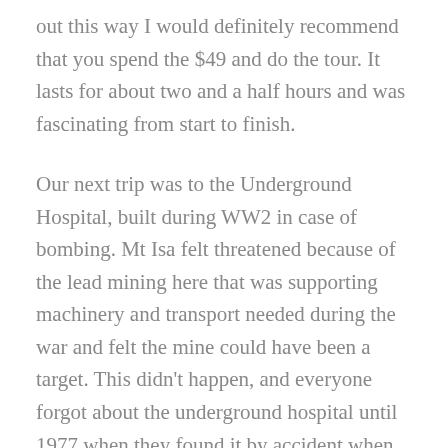out this way I would definitely recommend that you spend the $49 and do the tour. It lasts for about two and a half hours and was fascinating from start to finish.
Our next trip was to the Underground Hospital, built during WW2 in case of bombing. Mt Isa felt threatened because of the lead mining here that was supporting machinery and transport needed during the war and felt the mine could have been a target. This didn't happen, and everyone forgot about the underground hospital until 1977 when they found it by accident when the hospital was being re-built and expanded. It was declared unsafe so sealed again for another 20 years and then some of the miners took to repairing the timbers and making the structure safe again. Everything that was in this hospital during the war was still there and intact, so has been left in place. Smaller items were recovered and there are bottles of chloroform and other medicines looking just as they must have in 1945.